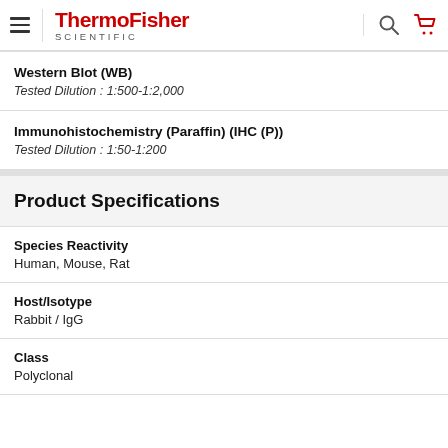ThermoFisher SCIENTIFIC
Western Blot (WB)
Tested Dilution : 1:500-1:2,000
Immunohistochemistry (Paraffin) (IHC (P))
Tested Dilution : 1:50-1:200
Product Specifications
Species Reactivity
Human, Mouse, Rat
Host/Isotype
Rabbit / IgG
Class
Polyclonal